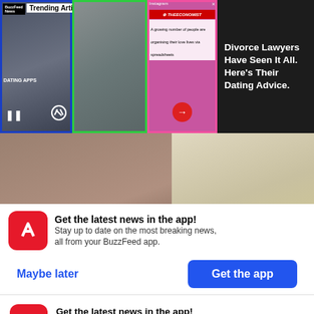[Figure (screenshot): Mobile app screenshot showing trending articles carousel with three video thumbnails side by side: a BuzzFeed News video, a smiling man in a green border frame, and an Instagram/Economist article post, plus a dark panel with text about divorce lawyers dating advice]
Divorce Lawyers Have Seen It All. Here's Their Dating Advice.
[Figure (photo): Two side-by-side photos: left shows a rocky muddy landscape, right shows a plate with a yellow bowl and utensils]
Eliahna Torres
Courtesy Torres Family
Get the latest news in the app! Stay up to date on the most breaking news, all from your BuzzFeed app.
Maybe later
Get the app